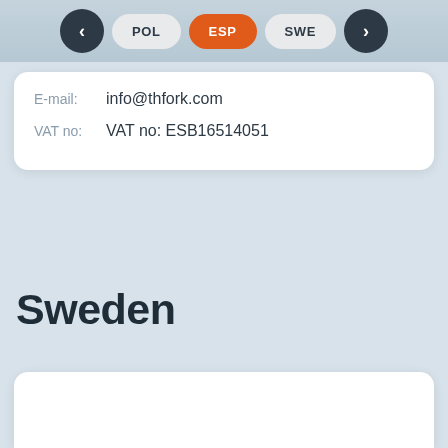< | POL | ESP | SWE | >
E-mail:    info@thfork.com
VAT no:    VAT no: ESB16514051
Sweden